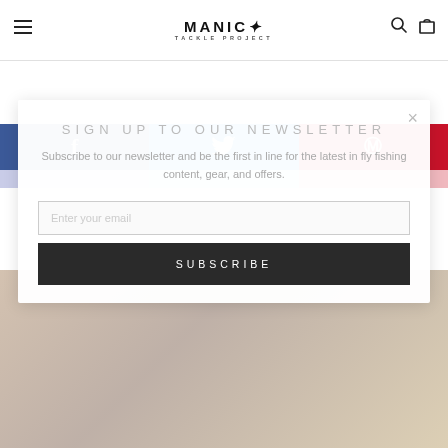MANIC TACKLE PROJECT
[Figure (screenshot): Social share bar with Facebook (blue), Twitter (cyan), and Pinterest (red) icons]
SIGN UP TO OUR NEWSLETTER
Subscribe to our newsletter and be the first in line for the latest in fly fishing content, gear, and offers.
Enter your email
SUBSCRIBE